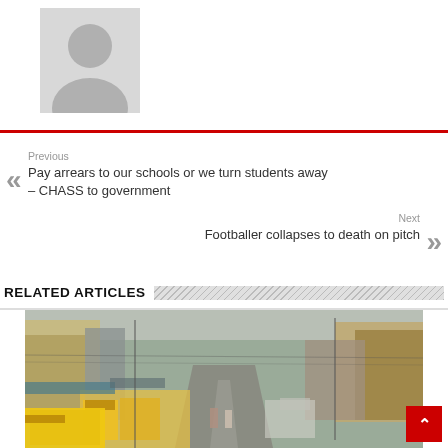[Figure (illustration): Grey silhouette avatar placeholder image]
Previous
Pay arrears to our schools or we turn students away – CHASS to government
Next
Footballer collapses to death on pitch
RELATED ARTICLES
[Figure (photo): Street scene in a Nigerian city with traffic, yellow tuk-tuks, and buildings on both sides]